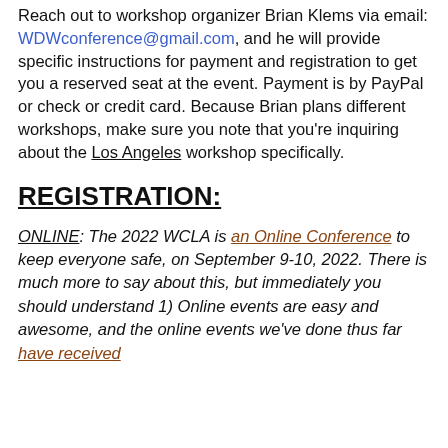How to pay/register: Registration is now open. Reach out to workshop organizer Brian Klems via email: WDWconference@gmail.com, and he will provide specific instructions for payment and registration to get you a reserved seat at the event. Payment is by PayPal or check or credit card. Because Brian plans different workshops, make sure you note that you're inquiring about the Los Angeles workshop specifically.
REGISTRATION:
ONLINE: The 2022 WCLA is an Online Conference to keep everyone safe, on September 9-10, 2022. There is much more to say about this, but immediately you should understand 1) Online events are easy and awesome, and the online events we've done thus far have received